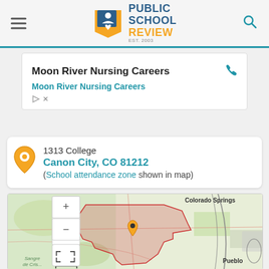Public School Review — EST. 2003
[Figure (screenshot): Advertisement for Moon River Nursing Careers with phone icon and link]
1313 College
Canon City, CO 81212
(School attendance zone shown in map)
[Figure (map): Map showing Canon City, CO area with school attendance zone highlighted in red/pink, orange location pin, Colorado Springs and Pueblo labeled, zoom controls and expand icon visible, scale bar showing 20 mi]